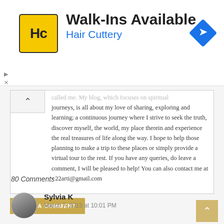[Figure (screenshot): Hair Cuttery advertisement banner with HC logo, 'Walk-Ins Available' headline, 'Hair Cuttery' subtext in blue, and a blue navigation arrow icon on the right]
called me. My blog, which focuses on spiritual journeys, is all about my love of sharing, exploring and learning; a continuous journey where I strive to seek the truth, discover myself, the world, my place therein and experience the real treasures of life along the way. I hope to help those planning to make a trip to these places or simply provide a virtual tour to the rest. If you have any queries, do leave a comment, I will be pleased to help! You can also contact me at - 22arti@gmail.com
POST A COMMENT
80 Comments
Sylvia K
March 7, 2013 at 10:01 PM